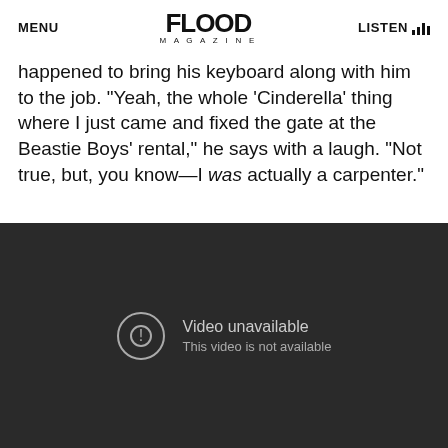MENU | FLOOD MAGAZINE | LISTEN
happened to bring his keyboard along with him to the job. “Yeah, the whole ‘Cinderella’ thing where I just came and fixed the gate at the Beastie Boys’ rental,” he says with a laugh. “Not true, but, you know—I was actually a carpenter.”
[Figure (screenshot): Embedded video player showing 'Video unavailable - This video is not available' error message on a dark background.]